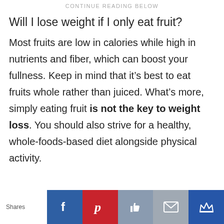CONTINUE READING BELOW
Will I lose weight if I only eat fruit?
Most fruits are low in calories while high in nutrients and fiber, which can boost your fullness. Keep in mind that it’s best to eat fruits whole rather than juiced. What’s more, simply eating fruit is not the key to weight loss. You should also strive for a healthy, whole-foods-based diet alongside physical activity.
Shares | Facebook | Pinterest | Like | Email | Crown